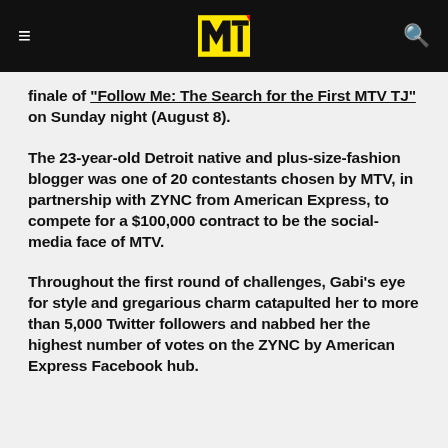MTV logo navigation bar
finale of "Follow Me: The Search for the First MTV TJ" on Sunday night (August 8).
The 23-year-old Detroit native and plus-size-fashion blogger was one of 20 contestants chosen by MTV, in partnership with ZYNC from American Express, to compete for a $100,000 contract to be the social-media face of MTV.
Throughout the first round of challenges, Gabi's eye for style and gregarious charm catapulted her to more than 5,000 Twitter followers and nabbed her the highest number of votes on the ZYNC by American Express Facebook hub.